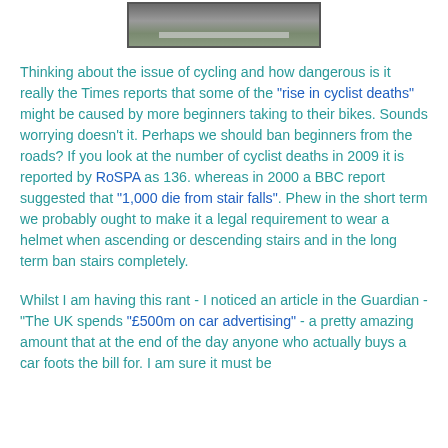[Figure (photo): Partial view of a road or path with grass visible, cropped at top]
Thinking about the issue of cycling and how dangerous is it really the Times reports that some of the "rise in cyclist deaths" might be caused by more beginners taking to their bikes. Sounds worrying doesn't it. Perhaps we should ban beginners from the roads? If you look at the number of cyclist deaths in 2009 it is reported by RoSPA as 136. whereas in 2000 a BBC report suggested that "1,000 die from stair falls". Phew in the short term we probably ought to make it a legal requirement to wear a helmet when ascending or descending stairs and in the long term ban stairs completely.
Whilst I am having this rant - I noticed an article in the Guardian - "The UK spends "£500m on car advertising" - a pretty amazing amount that at the end of the day anyone who actually buys a car foots the bill for. I am sure it must be